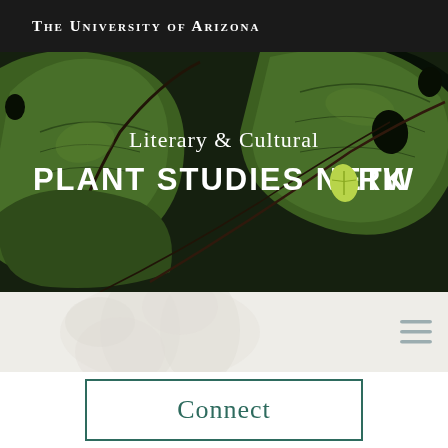The University of Arizona
[Figure (screenshot): Hero banner with close-up photo of large green leaves with dark background. Overlaid text reads 'Literary & Cultural PLANT STUDIES NETWORK' with a leaf icon replacing the 'O' in NETWORK.]
[Figure (screenshot): Navigation strip with light beige/grey background (faint white flower overlay) and a hamburger menu icon (three horizontal lines) on the right side.]
Connect